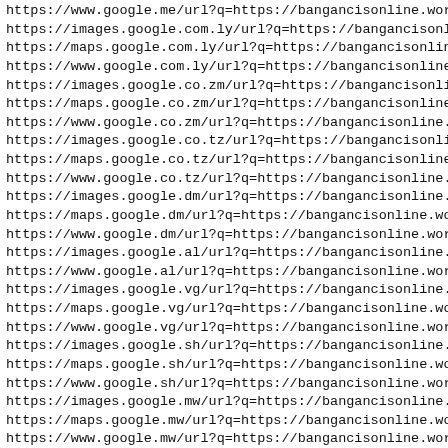https://www.google.me/url?q=https://bangancisonline.wordpre
https://images.google.com.ly/url?q=https://bangancisonline.
https://maps.google.com.ly/url?q=https://bangancisonline.wo
https://www.google.com.ly/url?q=https://bangancisonline.wor
https://images.google.co.zm/url?q=https://bangancisonline.w
https://maps.google.co.zm/url?q=https://bangancisonline.wor
https://www.google.co.zm/url?q=https://bangancisonline.word
https://images.google.co.tz/url?q=https://bangancisonline.w
https://maps.google.co.tz/url?q=https://bangancisonline.wor
https://www.google.co.tz/url?q=https://bangancisonline.word
https://images.google.dm/url?q=https://bangancisonline.word
https://maps.google.dm/url?q=https://bangancisonline.wordpr
https://www.google.dm/url?q=https://bangancisonline.wordpre
https://images.google.al/url?q=https://bangancisonline.word
https://www.google.al/url?q=https://bangancisonline.wordpre
https://images.google.vg/url?q=https://bangancisonline.word
https://maps.google.vg/url?q=https://bangancisonline.wordpr
https://www.google.vg/url?q=https://bangancisonline.wordpre
https://images.google.sh/url?q=https://bangancisonline.word
https://maps.google.sh/url?q=https://bangancisonline.wordpr
https://www.google.sh/url?q=https://bangancisonline.wordpre
https://images.google.mw/url?q=https://bangancisonline.word
https://maps.google.mw/url?q=https://bangancisonline.wordpr
https://www.google.mw/url?q=https://bangancisonline.wordpre
https://images.google.dj/url?q=https://bangancisonline.word
https://maps.google.dj/url?q=https://bangancisonline.wordpr
https://www.google.dj/url?q=https://bangancisonline.wordpre
https://images.google.co.zw/url?q=https://bangancisonline.w
https://maps.google.co.zw/url?q=https://bangancisonline.wor
https://www.google.co.zw/url?q=https://bangancisonline.wo